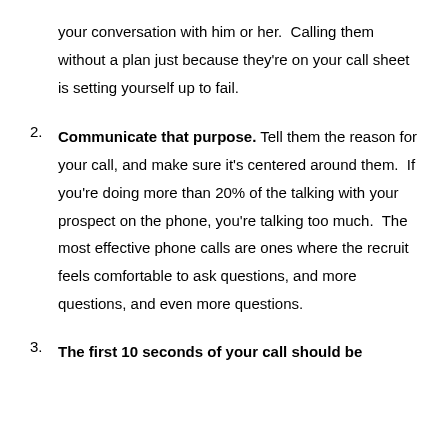your conversation with him or her.  Calling them without a plan just because they're on your call sheet is setting yourself up to fail.
2. Communicate that purpose. Tell them the reason for your call, and make sure it's centered around them.  If you're doing more than 20% of the talking with your prospect on the phone, you're talking too much.  The most effective phone calls are ones where the recruit feels comfortable to ask questions, and more questions, and even more questions.
3. The first 10 seconds of your call should be